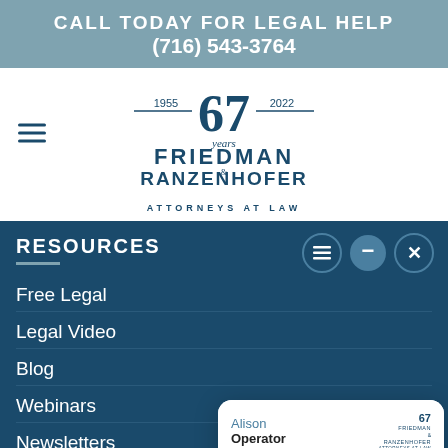CALL TODAY FOR LEGAL HELP
(716) 543-3764
[Figure (logo): Friedman & Ranzenhofer Attorneys at Law logo with 67 years (1955-2022) emblem]
RESOURCES
Free Legal
Legal Video
Blog
Webinars
Newsletters
[Figure (screenshot): Live chat widget with Alison (Operator) saying: Hi, welcome to the Friedman & Ranzenhofer Attorneys at Law website. How can we assist you today? Input box with Type here... placeholder. Powered By: Accelerate Now footer.]